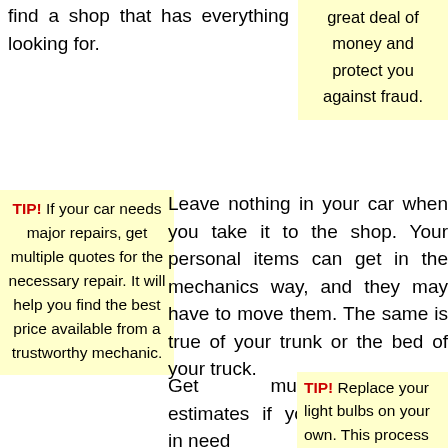find a shop that has everything you're looking for.
great deal of money and protect you against fraud.
TIP! If your car needs major repairs, get multiple quotes for the necessary repair. It will help you find the best price available from a trustworthy mechanic.
Leave nothing in your car when you take it to the shop. Your personal items can get in the mechanics way, and they may have to move them. The same is true of your trunk or the bed of your truck.
Get multiple estimates if you're in need of major service. Most mechanical shops are trustworthy, but others may try to slip in little extras which quickly add up. If possible, find a mechanic who is specialized in the
TIP! Replace your light bulbs on your own. This process is easier in specific vehicles and harder in others; however, doing this yourself is much more